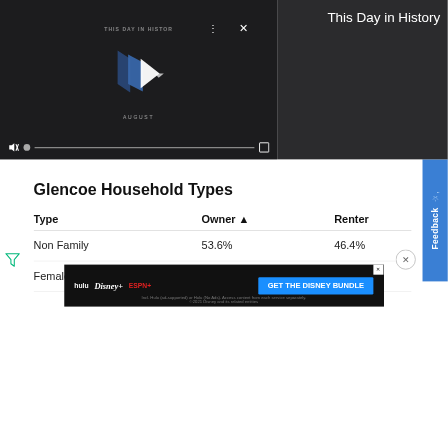[Figure (screenshot): Video player showing 'This Day in History' with play controls, mute button, progress bar, and fullscreen icon on dark background]
This Day in History
Glencoe Household Types
| Type | Owner ▲ | Renter |
| --- | --- | --- |
| Non Family | 53.6% | 46.4% |
| Female | 58.2% | 41.8% |
[Figure (screenshot): Disney Bundle advertisement banner with Hulu, Disney+, ESPN+ logos and 'GET THE DISNEY BUNDLE' call to action button]